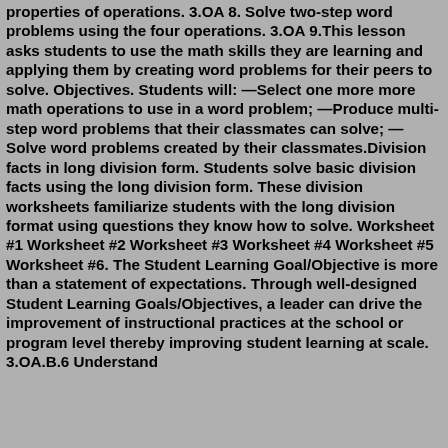properties of operations. 3.OA 8. Solve two-step word problems using the four operations. 3.OA 9.This lesson asks students to use the math skills they are learning and applying them by creating word problems for their peers to solve. Objectives. Students will: —Select one more more math operations to use in a word problem; —Produce multi-step word problems that their classmates can solve; —Solve word problems created by their classmates.Division facts in long division form. Students solve basic division facts using the long division form. These division worksheets familiarize students with the long division format using questions they know how to solve. Worksheet #1 Worksheet #2 Worksheet #3 Worksheet #4 Worksheet #5 Worksheet #6. The Student Learning Goal/Objective is more than a statement of expectations. Through well-designed Student Learning Goals/Objectives, a leader can drive the improvement of instructional practices at the school or program level thereby improving student learning at scale. 3.OA.B.6 Understand